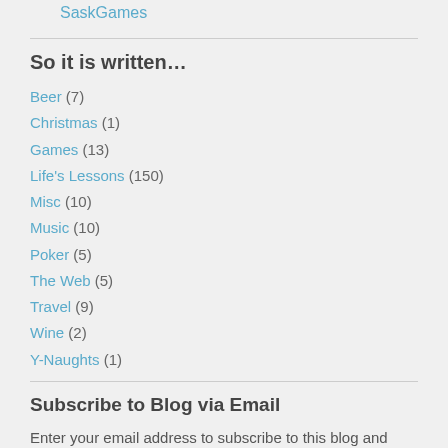SaskGames
So it is written…
Beer (7)
Christmas (1)
Games (13)
Life's Lessons (150)
Misc (10)
Music (10)
Poker (5)
The Web (5)
Travel (9)
Wine (2)
Y-Naughts (1)
Subscribe to Blog via Email
Enter your email address to subscribe to this blog and receive notifications of new posts by email.
Join 970 other subscribers